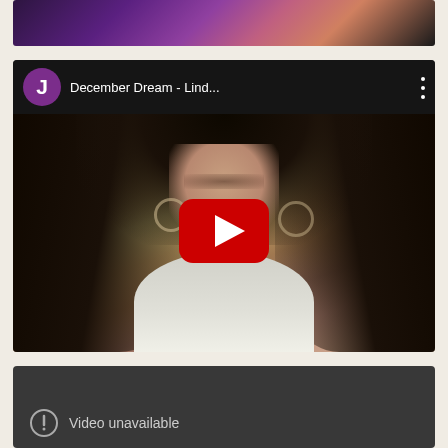[Figure (screenshot): Top portion of a YouTube-style video embed showing a partially visible colorful thumbnail with purple/pink tones and a black bar at the bottom]
[Figure (screenshot): YouTube video embed titled 'December Dream - Lind...' with avatar showing purple circle with letter J, a thumbnail showing a woman with long dark hair and hoop earrings in a white blouse, centered red YouTube play button]
[Figure (screenshot): Dark gray video embed panel showing 'Video unavailable' text with an icon, dark background]
Video unavailable